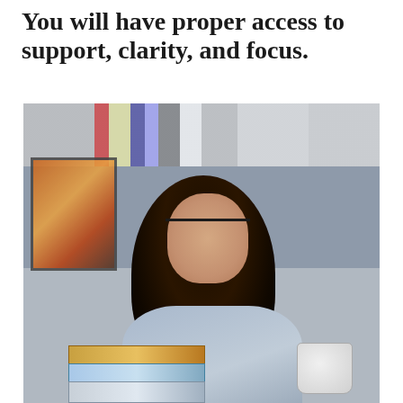You will have proper access to support, clarity, and focus.
[Figure (photo): A young woman with long dark wavy hair and glasses, wearing a light blue shirt, sitting at a desk with a stack of books and a white mug, with a grey wall and bookshelf in the background]